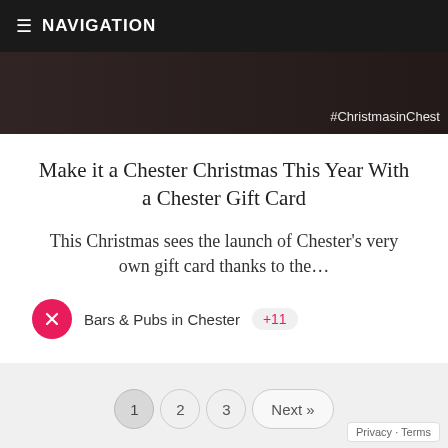NAVIGATION
[Figure (photo): Dark hero image with hashtag #ChristmasinChest visible in lower right]
Make it a Chester Christmas This Year With a Chester Gift Card
This Christmas sees the launch of Chester's very own gift card thanks to the...
Bars & Pubs in Chester  +11
1  2  3  Next »
Privacy · Terms